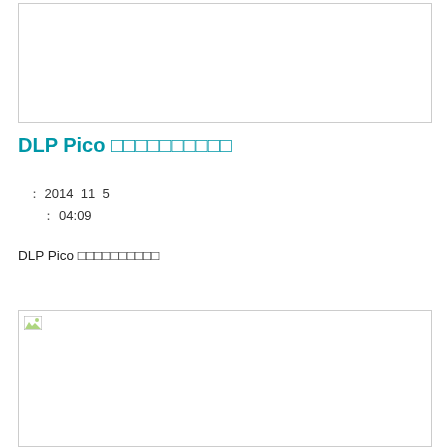[Figure (other): Empty bordered box at top of page, possibly a previous image placeholder]
DLP Pico □□□□□□□□□□
: 2014  11  5
    : 04:09
DLP Pico □□□□□□□□□□
[Figure (photo): Broken/missing image placeholder with small icon in top-left corner, large empty white area with border]